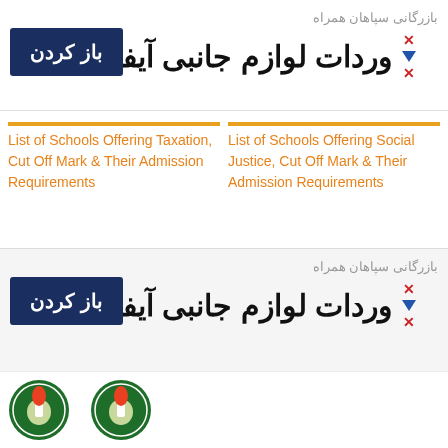[Figure (infographic): Persian language advertisement banner with dark blue button labeled باز کردن and Persian text بازرگانی سپاهان همراه and وردات لوازم جانبی آیفون 14]
List of Schools Offering Taxation, Cut Off Mark & Their Admission Requirements
List of Schools Offering Social Justice, Cut Off Mark & Their Admission Requirements
[Figure (logo): JAMB - Joint Admissions and Matriculation Board circular green logo with torch]
List of Schools Offering Population Studies, Cut Off Mark & Their Admission Requirements
[Figure (infographic): Second Persian language advertisement banner with dark blue button labeled باز کردن and Persian text بازرگانی سپاهان همراه and وردات لوازم جانبی آیفون 14]
[Figure (logo): Partial JAMB circular green logo visible at bottom]